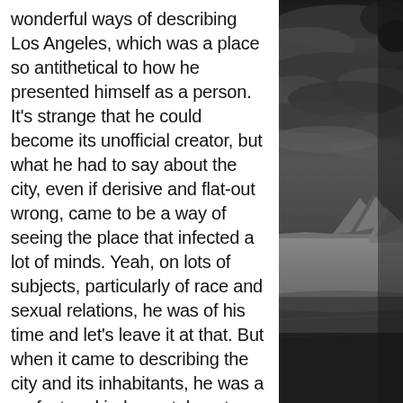wonderful ways of describing Los Angeles, which was a place so antithetical to how he presented himself as a person. It's strange that he could become its unofficial creator, but what he had to say about the city, even if derisive and flat-out wrong, came to be a way of seeing the place that infected a lot of minds. Yeah, on lots of subjects, particularly of race and sexual relations, he was of his time and let's leave it at that. But when it came to describing the city and its inhabitants, he was a perfect and judgmental poet.
Albertus typeface
c.f. the entry on PRINCE OF DARKNESS. I made a typographic joke, one that only one other person has gotten
[Figure (photo): Black and white photograph on the right side of the page showing a stormy sky above a rocky desert landscape with sand dunes or hills.]